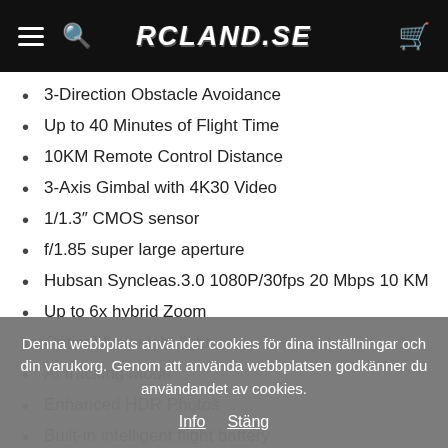RCLAND.SE
3-Direction Obstacle Avoidance
Up to 40 Minutes of Flight Time
10KM Remote Control Distance
3-Axis Gimbal with 4K30 Video
1/1.3″ CMOS sensor
f/1.85 super large aperture
Hubsan Syncleas.3.0 1080P/30fps 20 Mbps 10 KM
Up to 6x hybrid Zoom
Optical-flow night light
AI tracking Mode
Enhanced HDR Photos
Built-in intelligent flight battery
Size: 137x88x61.6mm
Denna webbplats använder cookies för dina inställningar och din varukorg. Genom att använda webbplatsen godkänner du användandet av cookies.